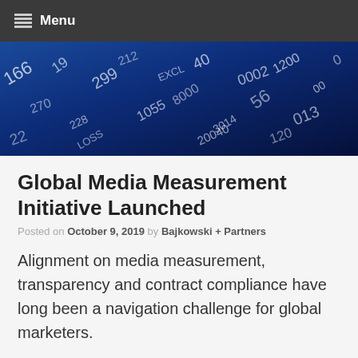Menu
[Figure (photo): Blue-toned banner image with white numbers and financial/data figures scattered across a dark blue background]
Global Media Measurement Initiative Launched
Posted on October 9, 2019 by Bajkowski + Partners
Alignment on media measurement, transparency and contract compliance have long been a navigation challenge for global marketers.
What's considered a 'best practice' in media measurement and management varies between regions and can be also be country-specific.